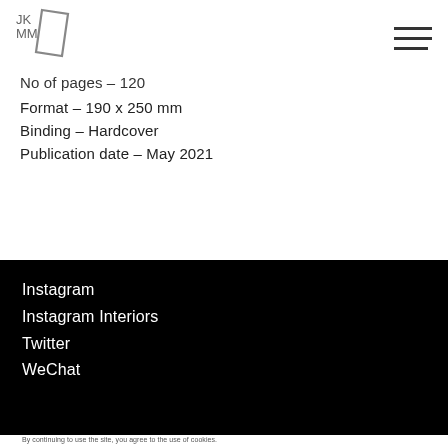JKMM logo and navigation
No of pages – 120
Format – 190 x 250 mm
Binding – Hardcover
Publication date – May 2021
Instagram
Instagram Interiors
Twitter
WeChat
By continuing to use the site, you agree to the use of cookies.